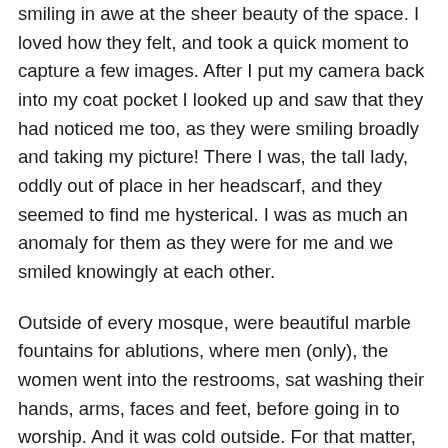smiling in awe at the sheer beauty of the space. I loved how they felt, and took a quick moment to capture a few images. After I put my camera back into my coat pocket I looked up and saw that they had noticed me too, as they were smiling broadly and taking my picture! There I was, the tall lady, oddly out of place in her headscarf, and they seemed to find me hysterical. I was as much an anomaly for them as they were for me and we smiled knowingly at each other.
Outside of every mosque, were beautiful marble fountains for ablutions, where men (only), the women went into the restrooms, sat washing their hands, arms, faces and feet, before going in to worship. And it was cold outside. For that matter, there were such marble fountains all over the city with beautiful brass spigots also used for cleansing. Many also had a tin cup on a chain for shared drinking.